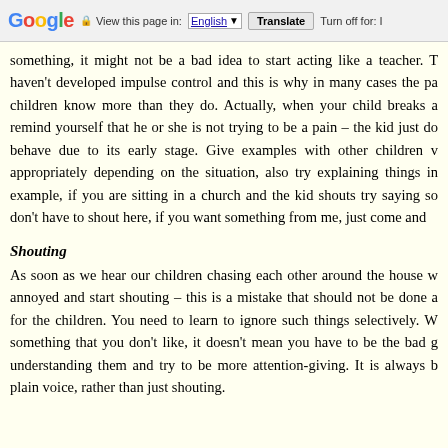Google  View this page in: English [▼]  Translate  Turn off for: I...
something, it might not be a bad idea to start acting like a teacher. T haven't developed impulse control and this is why in many cases the pa children know more than they do. Actually, when your child breaks a remind yourself that he or she is not trying to be a pain – the kid just do behave due to its early stage. Give examples with other children appropriately depending on the situation, also try explaining things in example, if you are sitting in a church and the kid shouts try saying so don't have to shout here, if you want something from me, just come an
Shouting
As soon as we hear our children chasing each other around the house w annoyed and start shouting – this is a mistake that should not be done a for the children. You need to learn to ignore such things selectively. W something that you don't like, it doesn't mean you have to be the bad g understanding them and try to be more attention-giving. It is always b plain voice, rather than just shouting.